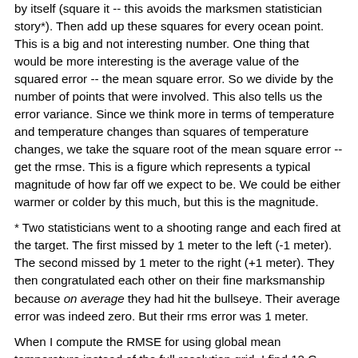by itself (square it -- this avoids the marksmen statistician story*). Then add up these squares for every ocean point. This is a big and not interesting number. One thing that would be more interesting is the average value of the squared error -- the mean square error. So we divide by the number of points that were involved. This also tells us the error variance. Since we think more in terms of temperature and temperature changes than squares of temperature changes, we take the square root of the mean square error -- get the rmse. This is a figure which represents a typical magnitude of how far off we expect to be. We could be either warmer or colder by this much, but this is the magnitude.
* Two statisticians went to a shooting range and each fired at the target. The first missed by 1 meter to the left (-1 meter). The second missed by 1 meter to the right (+1 meter). They then congratulated each other on their fine marksmanship because on average they had hit the bullseye. Their average error was indeed zero. But their rms error was 1 meter.
When I compute the RMSE for using global mean temperature instead of the full resolution grid, I find 12 C. The the...